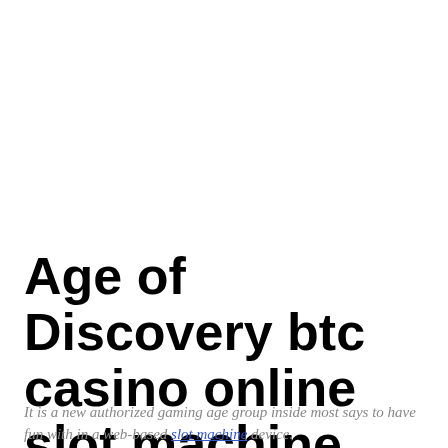Age of Discovery btc casino online slot machine
It is a new authorized gaming age group inside most says to have fun with in a web-based slot machine device.